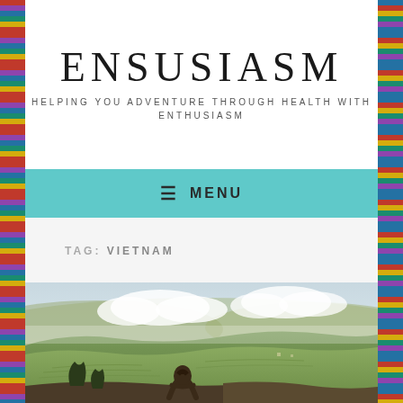ENSUSIASM
HELPING YOU ADVENTURE THROUGH HEALTH WITH ENTHUSIASM
≡ MENU
TAG: VIETNAM
[Figure (photo): Person standing and looking out over terraced rice fields and mountains with clouds in a misty landscape, likely Vietnam highlands (Sa Pa area)]